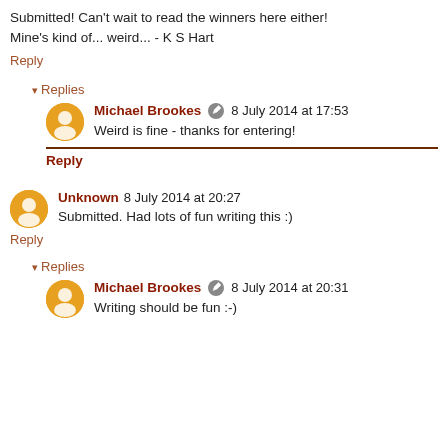Submitted! Can't wait to read the winners here either! Mine's kind of... weird... - K S Hart
Reply
Replies
Michael Brookes  8 July 2014 at 17:53
Weird is fine - thanks for entering!
Reply
Unknown  8 July 2014 at 20:27
Submitted. Had lots of fun writing this :)
Reply
Replies
Michael Brookes  8 July 2014 at 20:31
Writing should be fun :-)